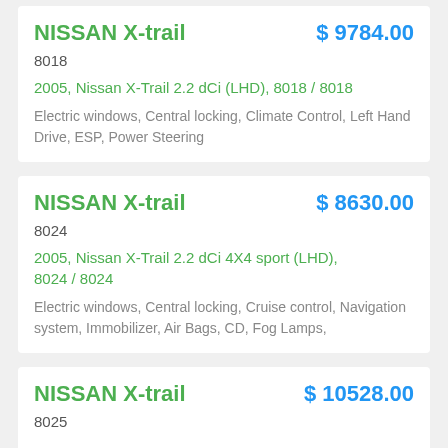NISSAN X-trail
$ 9784.00
8018
2005, Nissan X-Trail 2.2 dCi (LHD), 8018 / 8018
Electric windows, Central locking, Climate Control, Left Hand Drive, ESP, Power Steering
NISSAN X-trail
$ 8630.00
8024
2005, Nissan X-Trail 2.2 dCi 4X4 sport (LHD), 8024 / 8024
Electric windows, Central locking, Cruise control, Navigation system, Immobilizer, Air Bags, CD, Fog Lamps,
NISSAN X-trail
$ 10528.00
8025